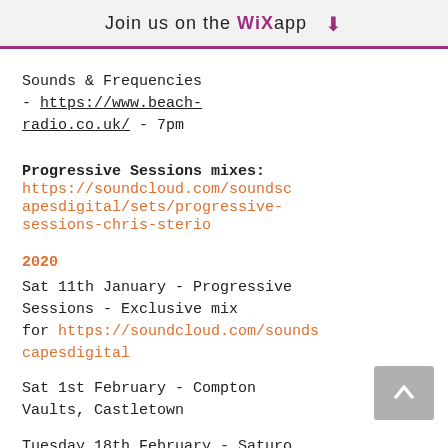Join us on the WiX app ⬇
Sounds & Frequencies - https://www.beach-radio.co.uk/ - 7pm
Progressive Sessions mixes: https://soundcloud.com/soundscapesdigital/sets/progressive-sessions-chris-sterio
2020
Sat 11th January - Progressive Sessions - Exclusive mix for https://soundcloud.com/soundscapesdigital
Sat 1st February - Compton Vaults, Castletown
Tuesday 18th February - Saturo